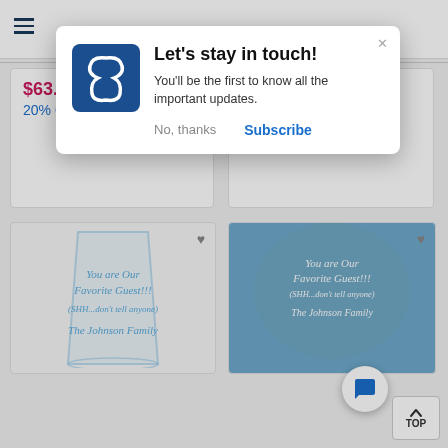[Figure (screenshot): Mobile e-commerce website showing a popup notification overlay with product cards in the background]
$63.96 20% OFF
$59.16 20% OFF
[Figure (photo): Personalized drinking glass with text: You are Our Favorite Guest!!! (SHH...don't tell anyone) The Johnson Family]
[Figure (photo): Personalized blue balloon with text: You are Our Favorite Guest!!! (SHH...don't tell anyone) The Johnson Family]
Let's stay in touch!
You'll be the first to know all the important updates.
No, thanks
Subscribe